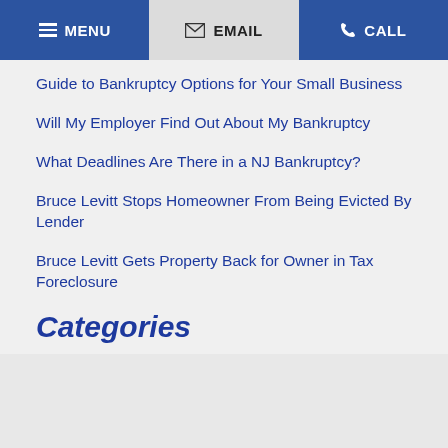MENU | EMAIL | CALL
Guide to Bankruptcy Options for Your Small Business
Will My Employer Find Out About My Bankruptcy
What Deadlines Are There in a NJ Bankruptcy?
Bruce Levitt Stops Homeowner From Being Evicted By Lender
Bruce Levitt Gets Property Back for Owner in Tax Foreclosure
Categories